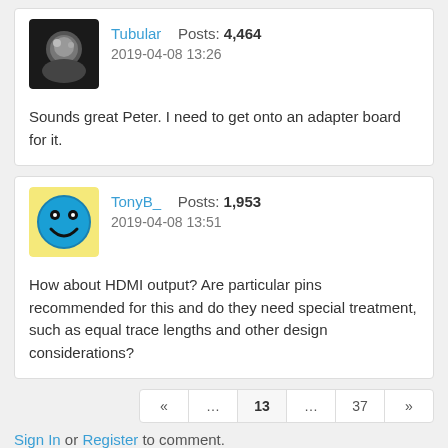[Figure (photo): Avatar for user Tubular - dark/black circular image on dark background]
Tubular   Posts: 4,464
2019-04-08 13:26
Sounds great Peter. I need to get onto an adapter board for it.
[Figure (illustration): Avatar for user TonyB_ - blue smiley face on yellow background]
TonyB_   Posts: 1,953
2019-04-08 13:51
How about HDMI output? Are particular pins recommended for this and do they need special treatment, such as equal trace lengths and other design considerations?
« ... 13 ... 37 »
Sign In or Register to comment.
Equip your Genius